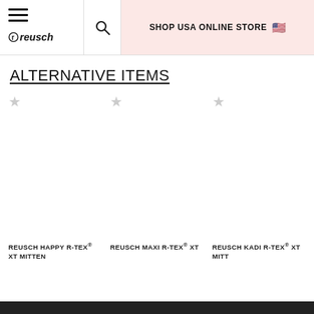SHOP USA ONLINE STORE
ALTERNATIVE ITEMS
[Figure (screenshot): Product card: REUSCH HAPPY R-TEX® XT MITTEN with star/favorite icon]
REUSCH HAPPY R-TEX® XT MITTEN
[Figure (screenshot): Product card: REUSCH MAXI R-TEX® XT with star/favorite icon]
REUSCH MAXI R-TEX® XT
[Figure (screenshot): Product card: REUSCH KADI R-TEX® XT MITTEN with star/favorite icon]
REUSCH KADI R-TEX® XT MITTEN